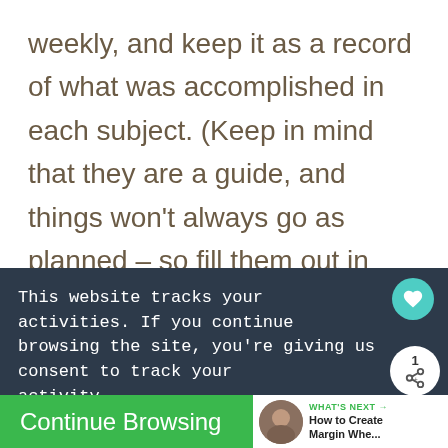weekly, and keep it as a record of what was accomplished in each subject. (Keep in mind that they are a guide, and things won't always go as planned – so fill them out in pencil.)
This website tracks your activities. If you continue browsing the site, you're giving us consent to track your activity.
Continue Browsing
WHAT'S NEXT → How to Create Margin Whe...